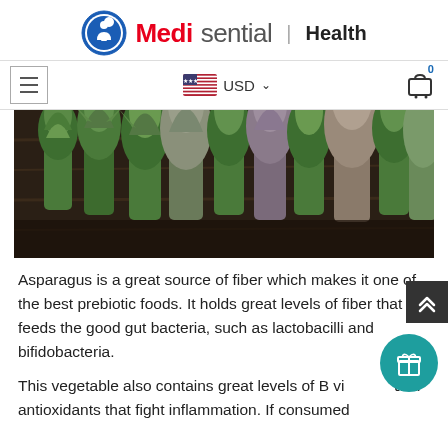Medisential | Health
[Figure (logo): Medisential logo with blue circle icon, red and grey text, and Health label]
[Figure (screenshot): Navigation bar with hamburger menu, USD currency selector with US flag, and shopping cart icon with badge 0]
[Figure (photo): Close-up photograph of fresh asparagus tips on dark wooden surface]
Asparagus is a great source of fiber which makes it one of the best prebiotic foods. It holds great levels of fiber that feeds the good gut bacteria, such as lactobacilli and bifidobacteria.
This vegetable also contains great levels of B vitamins and antioxidants that fight inflammation. If consumed regularly, it will support digestive health and someoint...